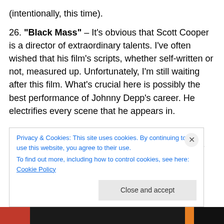(intentionally, this time).
26. "Black Mass" – It's obvious that Scott Cooper is a director of extraordinary talents. I've often wished that his film's scripts, whether self-written or not, measured up. Unfortunately, I'm still waiting after this film. What's crucial here is possibly the best performance of Johnny Depp's career. He electrifies every scene that he appears in.
25. "Ex Machina" – In some ways this little sci fi gem has a healthy dose of Hitchcock in it's veins. Alicia Vikander has gotten all of the attention this year, for this
Privacy & Cookies: This site uses cookies. By continuing to use this website, you agree to their use.
To find out more, including how to control cookies, see here: Cookie Policy
Close and accept